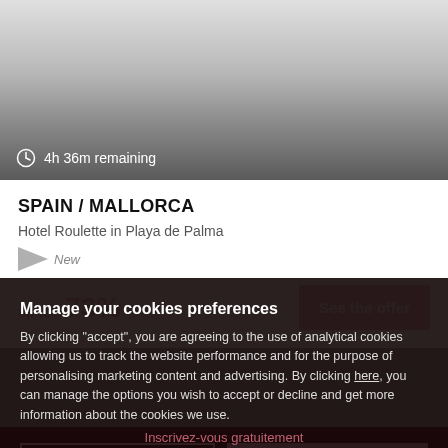[Figure (photo): Hotel or travel destination image with gradient fade to grey/dark, partially visible]
4h 36m remaining
SPAIN / MALLORCA
Hotel Roulette in Playa de Palma
New
up to -73%
See the offer
Manage your cookies preferences
By clicking "accept", you are agreeing to the use of analytical cookies allowing us to track the website performance and for the purpose of personalising marketing content and advertising. By clicking here, you can manage the options you wish to accept or decline and get more information about the cookies we use.
Decline
Accept
Inscrivez-vous gratuitement